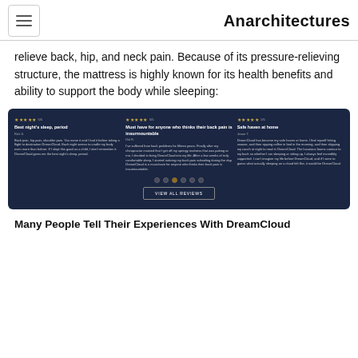Anarchitectures
relieve back, hip, and neck pain. Because of its pressure-relieving structure, the mattress is highly known for its health benefits and ability to support the body while sleeping:
[Figure (screenshot): Dark navy blue customer review carousel showing three review cards: 'Best night's sleep, period', 'Must have for anyone who thinks their back pain is insurmountable', and 'Safe haven at home'. Each card has 5-star ratings and review text. Below the cards are 6 pagination dots (3rd active) and a 'VIEW ALL REVIEWS' button.]
Many People Tell Their Experiences With DreamCloud